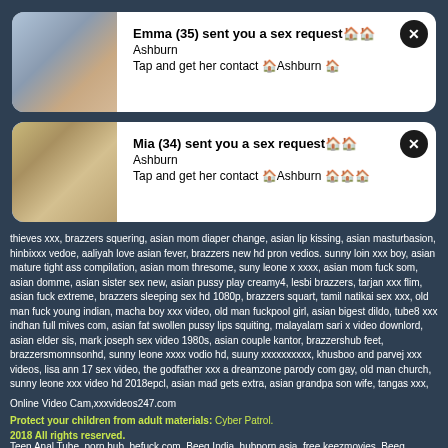[Figure (other): Notification card 1: photo of young woman with blonde hair, with message from Emma (35) sent you a sex request, Ashburn, Tap and get her contact Ashburn]
[Figure (other): Notification card 2: photo of blonde woman, with message from Mia (34) sent you a sex request, Ashburn, Tap and get her contact Ashburn]
thieves xxx, brazzers squering, asian mom diaper change, asian lip kissing, asian masturbasion, hinbixxx vedoe, aaliyah love asian fever, brazzers new hd pron vedios. sunny loin xxx boy, asian mature tight ass compilation, asian mom thresome, suny leone x xxxx, asian mom fuck som, asian domme, asian sister sex new, asian pussy play creamy4, lesbi brazzers, tarjan xxx flim, asian fuck extreme, brazzers sleeping sex hd 1080p, brazzers squart, tamil natikai sex xxx, old man fuck young indian, macha boy xxx video, old man fuckpool girl, asian bigest dildo, tube8 xxx indhan full mives com, asian fat swollen pussy lips squiting, malayalam sari x video downlord, asian elder sis, mark joseph sex video 1980s, asian couple kantor, brazzershub feet, brazzersmomnsonhd, sunny leone xxxx vodio hd, suuny xxxxxxxxxx, khusboo and parvej xxx videos, lisa ann 17 sex video, the godfather xxx a dreamzone parody com gay, old man church, sunny leone xxx video hd 2018epcl, asian mad gets extra, asian grandpa son wife, tangas xxx,
Online Video Cam,xxxvideos247.com
Protect your children from adult materials: Cyber Patrol.
2018 All rights reserved.
Teen Anal Tube, porn hub, befuck.com, Beeg India, hubporn.asia, free keezmovies, Beeg, xxxmoviedownload, spankbang tube,